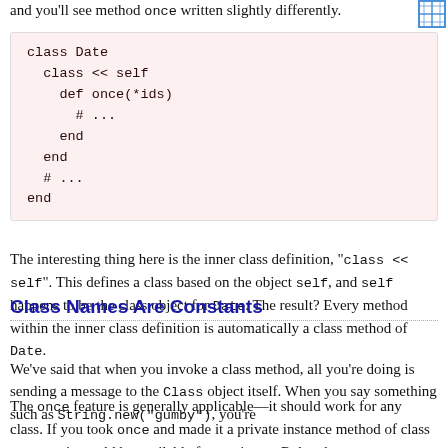and you'll see method once written slightly differently.
[Figure (other): Blue grid icon in top-right corner]
class Date
  class << self
    def once(*ids)
      # ...
    end
  end
  # ...
end
The interesting thing here is the inner class definition, "class << self". This defines a class based on the object self, and self happens to be the class object for Date. The result? Every method within the inner class definition is automatically a class method of Date.
The once feature is generally applicable—it should work for any class. If you took once and made it a private instance method of class Module, it would be available for use in any Ruby class.
Class Names Are Constants
We've said that when you invoke a class method, all you're doing is sending a message to the Class object itself. When you say something such as String.new("gumby"), you're